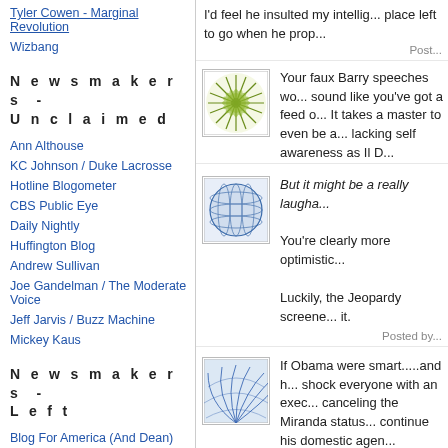Tyler Cowen - Marginal Revolution
Wizbang
Newsmakers - Unclaimed
Ann Althouse
KC Johnson / Duke Lacrosse
Hotline Blogometer
CBS Public Eye
Daily Nightly
Huffington Blog
Andrew Sullivan
Joe Gandelman / The Moderate Voice
Jeff Jarvis / Buzz Machine
Mickey Kaus
Newsmakers - Left
Blog For America (And Dean)
I'd feel he insulted my intellig... place left to go when he prop...
[Figure (illustration): Green starburst/flower pattern avatar]
Your faux Barry speeches wo... sound like you've got a feed o... It takes a master to even be a... lacking self awareness as Il D...
[Figure (illustration): Blue grid/sphere pattern avatar]
But it might be a really laugha...
You're clearly more optimistic...
Luckily, the Jeopardy screene... it.
Posted by...
[Figure (illustration): Blue wave/fan pattern avatar]
If Obama were smart.....and h... shock everyone with an exec... canceling the Miranda status... continue his domestic agen...